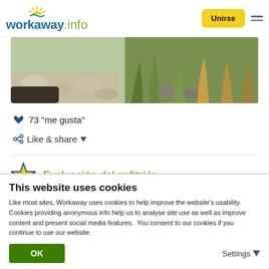workaway.info — Unirse
[Figure (photo): Garden/outdoor area with stone path, green plants and grasses, natural landscape photo]
❤ 73 "me gusta"
< Like & share ▼
Evaluación del anfitrión
[Figure (illustration): Thumbs up icon (green) and info circle icon (green/orange)]
This website uses cookies
Like most sites, Workaway uses cookies to help improve the website's usability. Cookies providing anonymous info help us to analyse site use as well as improve content and present social media features.  You consent to our cookies if you continue to use our website.
OK   Settings ▼